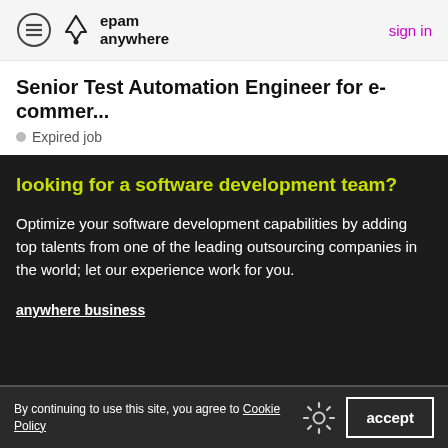epam anywhere  sign in
Senior Test Automation Engineer for e-commer...
Expired job
looking for a software development team?
Optimize your software development capabilities by adding top talents from one of the leading outsourcing companies in the world; let our experience work for you.
anywhere business
privacy policy   privacy notice   contact support
By continuing to use this site, you agree to Cookie Policy  accept